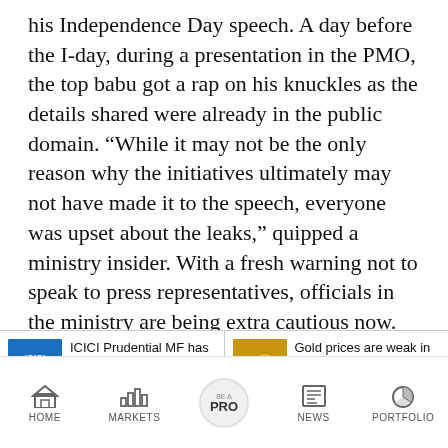his Independence Day speech. A day before the I-day, during a presentation in the PMO, the top babu got a rap on his knuckles as the details shared were already in the public domain. “While it may not be the only reason why the initiatives ultimately may not have made it to the speech, everyone was upset about the leaks,” quipped a ministry insider. With a fresh warning not to speak to press representatives, officials in the ministry are being extra cautious now.[/body]
[/content]
[Figure (screenshot): News card row with two items: (1) ICICI Prudential MF has launched PSU fund with blue logo thumbnail; (2) Gold prices are weak in inflationary times with gold coins thumbnail]
[Figure (screenshot): Bottom navigation bar with icons: HOME, MARKETS, BE A PRO (circular button), NEWS, PORTFOLIO]